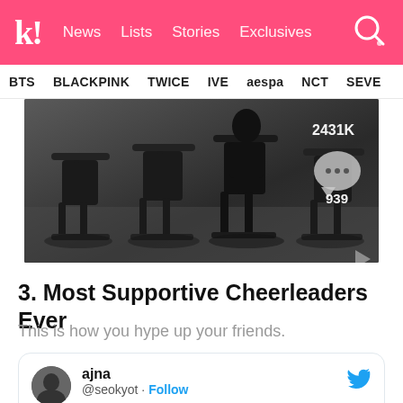k! News Lists Stories Exclusives
BTS BLACKPINK TWICE IVE aespa NCT SEVE
[Figure (screenshot): Screenshot of a TikTok or social media video showing chairs in a dark studio setting. Overlay shows 2431K likes and 939 comments.]
3. Most Supportive Cheerleaders Ever
This is how you hype up your friends.
ajna @seokyot · Follow